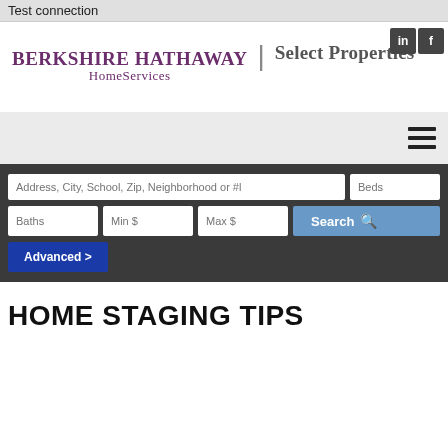Test connection
[Figure (logo): LinkedIn and Facebook social media icons in dark gray squares]
[Figure (logo): Berkshire Hathaway HomeServices | Select Properties logo in purple serif font]
[Figure (screenshot): Navigation bar with hamburger menu icon on right]
[Figure (screenshot): Search bar with fields: Address/City/School/Zip/Neighborhood, Beds, Baths, Min $, Max $, Search button, and Advanced button]
HOME STAGING TIPS